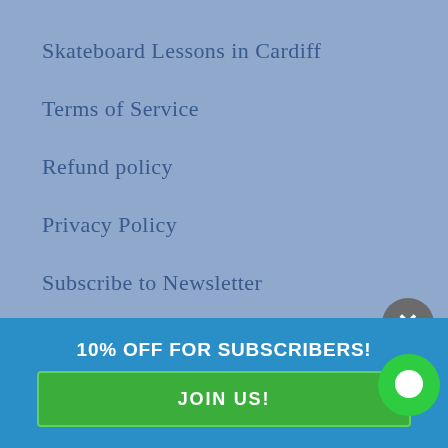Skateboard Lessons in Cardiff
Terms of Service
Refund policy
Privacy Policy
Subscribe to Newsletter
10% OFF FOR SUBSCRIBERS!
JOIN US!